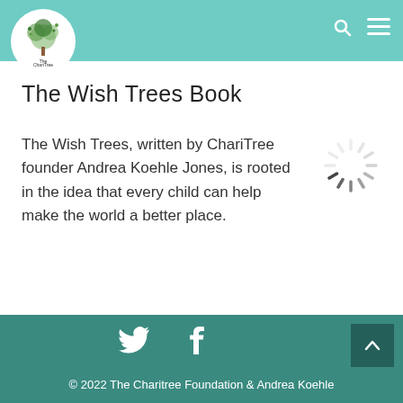The Charitree Foundation — navigation header with logo, search icon, menu icon
The Wish Trees Book
The Wish Trees, written by ChariTree founder Andrea Koehle Jones, is rooted in the idea that every child can help make the world a better place.
BUY NOW
© 2022 The Charitree Foundation & Andrea Koehle
[Figure (other): Loading spinner icon (circular dashed spinner)]